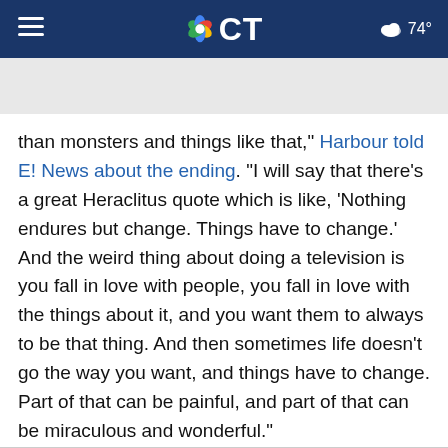NBC CT — 74°
than monsters and things like that," Harbour told E! News about the ending. "I will say that there's a great Heraclitus quote which is like, 'Nothing endures but change. Things have to change.' And the weird thing about doing a television is you fall in love with people, you fall in love with the things about it, and you want them to always to be that thing. And then sometimes life doesn't go the way you want, and things have to change. Part of that can be painful, and part of that can be miraculous and wonderful."
Copyright E! Online